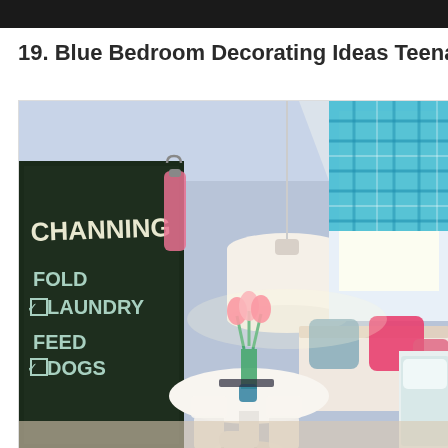19. Blue Bedroom Decorating Ideas Teenage Girls
[Figure (photo): Blue teenage girl bedroom with chalkboard on the left showing handwritten text 'CHANNING', 'FOLD', 'LAUNDRY' (checked), 'FEED', 'DOGS' (checked). A white round table with pink tulips in a vase sits in the center. A white drum pendant lamp hangs from the ceiling. Turquoise/blue plaid Roman shades cover the window. A window seat with pink and teal decorative pillows is visible on the right. The walls are painted light blue/lavender.]